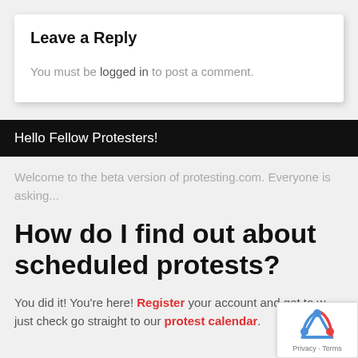Leave a Reply
You must be logged in to post a comment.
Hello Fellow Protesters!
Welcome to the beta version of protesting.com. Everyone is asking...
How do I find out about scheduled protests?
You did it! You're here! Register your account and get to w just check go straight to our protest calendar.